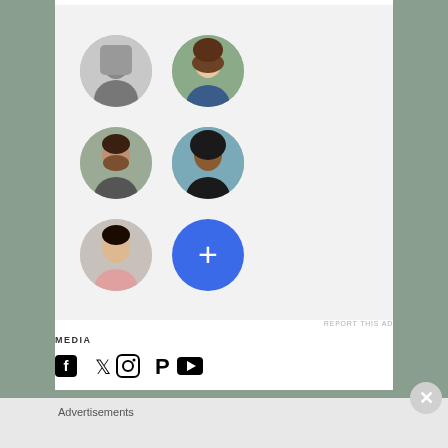[Figure (screenshot): A UI panel showing a grid of 5 circular profile photo avatars (2 columns, 3 rows) and one blue circle with a white plus sign. Five person photos are shown: a man in a dark jacket (grayscale), a woman with brown hair, a man with beard, a woman with natural hair, and an Asian woman. The plus button is blue.]
REPORT THIS AD
MEDIA
[Figure (illustration): Row of 5 social media icons: Facebook, Twitter, Instagram, Pinterest, YouTube — all black silhouette icons]
Advertisements